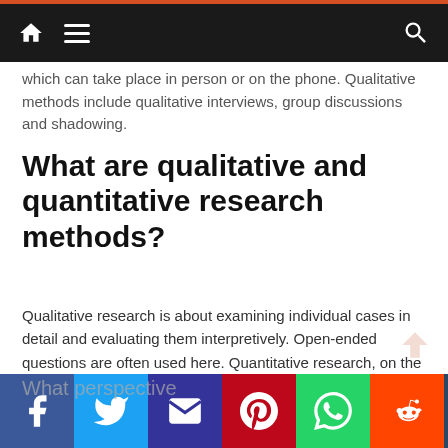Navigation bar with home, menu, and search icons
which can take place in person or on the phone. Qualitative methods include qualitative interviews, group discussions and shadowing.
What are qualitative and quantitative research methods?
Qualitative research is about examining individual cases in detail and evaluating them interpretively. Open-ended questions are often used here. Quantitative research, on the other hand, aims to collect as many results as possible in order to evaluate them statistically.
[Figure (infographic): Social media sharing bar with icons for Facebook, Twitter, Email, Pinterest, WhatsApp, Reddit, Tumblr, and a plus/share button]